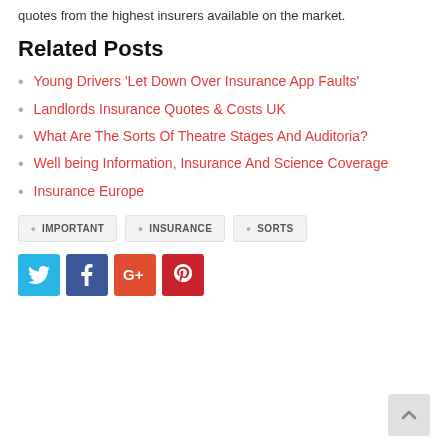quotes from the highest insurers available on the market.
Related Posts
Young Drivers 'Let Down Over Insurance App Faults'
Landlords Insurance Quotes & Costs UK
What Are The Sorts Of Theatre Stages And Auditoria?
Well being Information, Insurance And Science Coverage
Insurance Europe
IMPORTANT  INSURANCE  SORTS
[Figure (other): Social share buttons: Twitter, Facebook, Google+, Pinterest, and a back-to-top button]